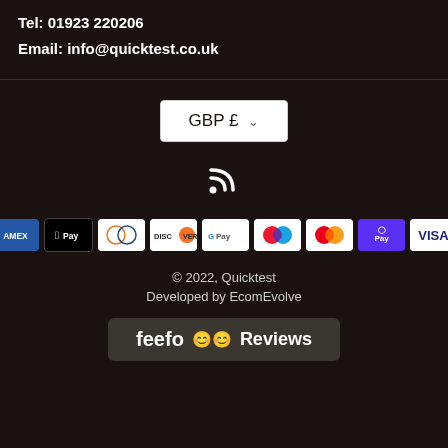Tel: 01923 220206
Email: info@quicktest.co.uk
[Figure (other): Currency selector button showing GBP £ with dropdown arrow]
[Figure (other): RSS feed icon in white]
[Figure (other): Payment method icons: Amex, Apple Pay, Diners Club, Discover, Google Pay, Maestro, Mastercard, ShopPay, Visa]
© 2022, Quicktest
Developed by EcomEvolve
[Figure (logo): Feefo Reviews badge with emoji eyes]